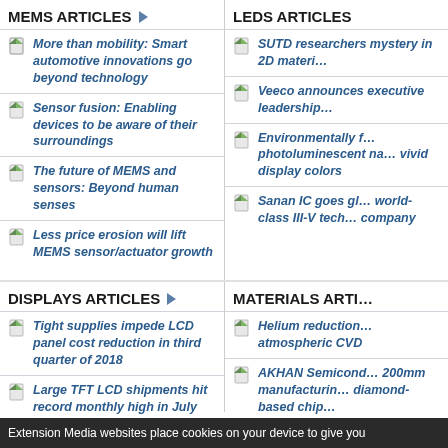MEMS ARTICLES
More than mobility: Smart automotive innovations go beyond technology
Sensor fusion: Enabling devices to be aware of their surroundings
The future of MEMS and sensors: Beyond human senses
Less price erosion will lift MEMS sensor/actuator growth
LEDS ARTICLES
SUTD researchers mystery in 2D materi…
Veeco announces executive leadership…
Environmentally f… photoluminescent na… vivid display colors
Sanan IC goes gl… world-class III-V tech… company
DISPLAYS ARTICLES
Tight supplies impede LCD panel cost reduction in third quarter of 2018
Large TFT LCD shipments hit record monthly high in July 2018
Universal Display Corporation announces recipients of the 2018 UDC Innovative Research and Pioneering Technology Awards at IMID Korea
MATERIALS ARTI…
Helium reduction… atmospheric CVD
AKHAN Semicond… 200mm manufacturin… diamond-based chip…
The Critical Mater… managed by TECHCH…
Extension Media websites place cookies on your device to give you